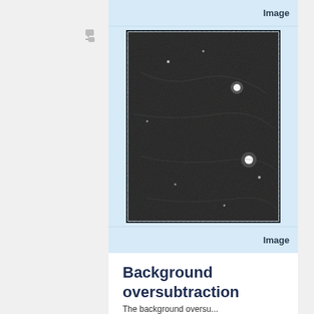[Figure (screenshot): Application UI screenshot showing a tree/hierarchy panel on the left, a center panel with two 'Image' labeled blue header/footer bands and a dark astronomical image (noisy sky field with a few bright stars) in between, and a vertical scrollbar on the right.]
Background oversubtraction
The background oversubtraction...